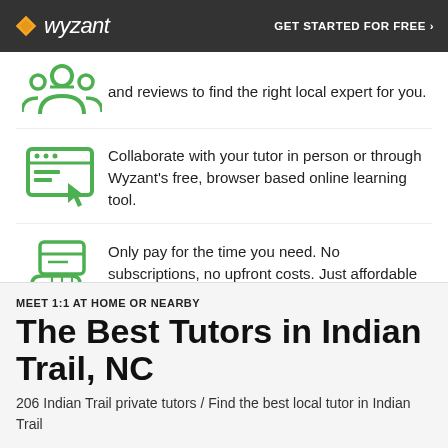wyzant | GET STARTED FOR FREE ›
and reviews to find the right local expert for you.
Collaborate with your tutor in person or through Wyzant's free, browser based online learning tool.
Only pay for the time you need. No subscriptions, no upfront costs. Just affordable results nearby.
MEET 1:1 AT HOME OR NEARBY
The Best Tutors in Indian Trail, NC
206 Indian Trail private tutors / Find the best local tutor in Indian Trail